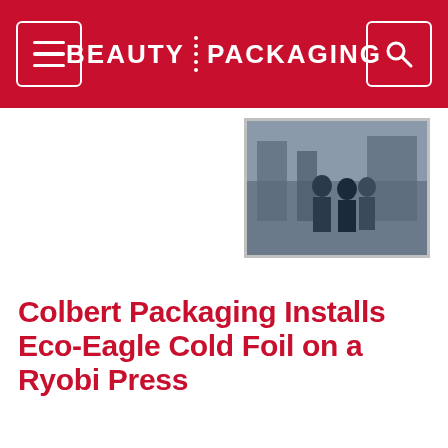BEAUTY PACKAGING
[Figure (photo): People standing in what appears to be a printing/packaging factory setting]
Colbert Packaging Installs Eco-Eagle Cold Foil on a Ryobi Press
The first installation of its kind in North America.
Beauty Packaging Staff • 10.16.19
ECO-FRIENDLY
[Figure (screenshot): Advertisement for The Protective Packaging Design Challenge]